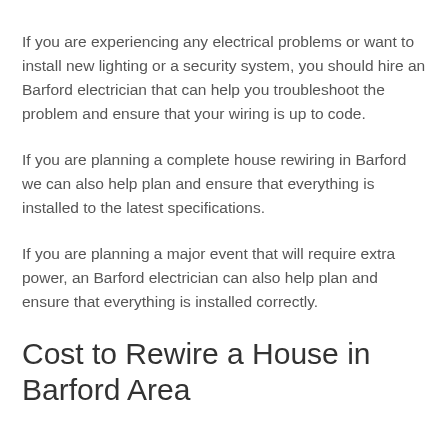If you are experiencing any electrical problems or want to install new lighting or a security system, you should hire an Barford electrician that can help you troubleshoot the problem and ensure that your wiring is up to code.
If you are planning a complete house rewiring in Barford we can also help plan and ensure that everything is installed to the latest specifications.
If you are planning a major event that will require extra power, an Barford electrician can also help plan and ensure that everything is installed correctly.
Cost to Rewire a House in Barford Area